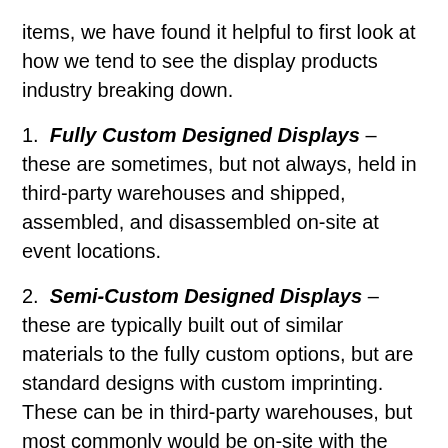items, we have found it helpful to first look at how we tend to see the display products industry breaking down.
1. Fully Custom Designed Displays – these are sometimes, but not always, held in third-party warehouses and shipped, assembled, and disassembled on-site at event locations.
2. Semi-Custom Designed Displays – these are typically built out of similar materials to the fully custom options, but are standard designs with custom imprinting. These can be in third-party warehouses, but most commonly would be on-site with the customer and sent where they are needed in-house.
3. Stock Custom Designed Displays – these are almost all standard products, with custom imprints